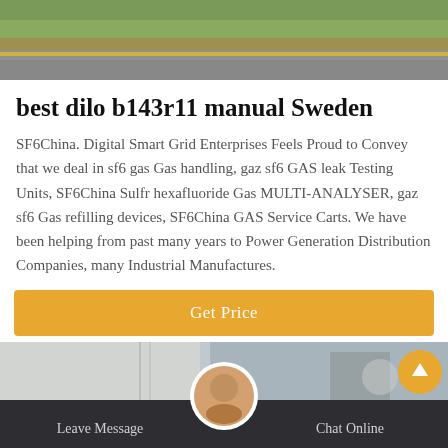[Figure (photo): Aerial or ground-level photo showing a road with yellow curb/stripe and green grass area]
best dilo b143r11 manual Sweden
SF6China. Digital Smart Grid Enterprises Feels Proud to Convey that we deal in sf6 gas Gas handling, gaz sf6 GAS leak Testing Units, SF6China Sulfr hexafluoride Gas MULTI-ANALYSER, gaz sf6 Gas refilling devices, SF6China GAS Service Carts. We have been helping from past many years to Power Generation Distribution Companies, many Industrial Manufactures.
Get Price
[Figure (photo): Industrial/electrical equipment photo with a chat support bar at the bottom showing Leave Message and Chat Online options with a customer service avatar]